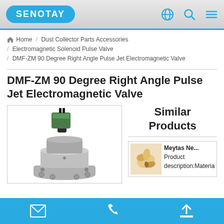SENOTAY
Home / Dust Collector Parts Accessories / Electromagnetic Solenoid Pulse Valve / DMF-ZM 90 Degree Right Angle Pulse Jet Electromagnetic Valve
DMF-ZM 90 Degree Right Angle Pulse Jet Electromagnetic Valve
[Figure (photo): Photo of a DMF-ZM 90 degree right angle pulse jet electromagnetic valve, shown as a metal solenoid valve with a green rectangular coil housing on top and a flanged base.]
Similar Products
[Figure (photo): Small thumbnail image of a Meytas needle/fabric product in beige/cream color.]
Meytas Ne... Product description:Materia
Email | Phone | Upload